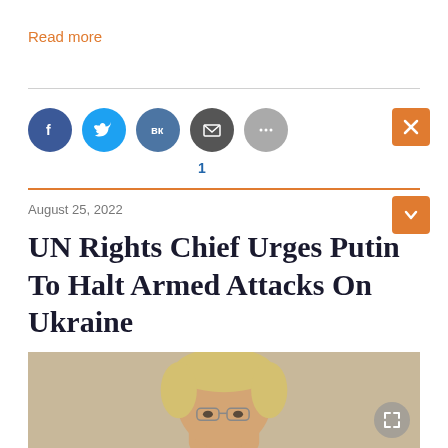Read more
[Figure (infographic): Social share icons: Facebook (dark blue circle), Twitter (light blue circle), VK (dark blue circle), Email/envelope (dark gray circle), More/ellipsis (gray circle), with share count '1' below VK icon, and an orange X close button on the right]
August 25, 2022
UN Rights Chief Urges Putin To Halt Armed Attacks On Ukraine
[Figure (photo): Partial photo of a blonde woman with short hair and glasses, visible from shoulders up, against a neutral background]